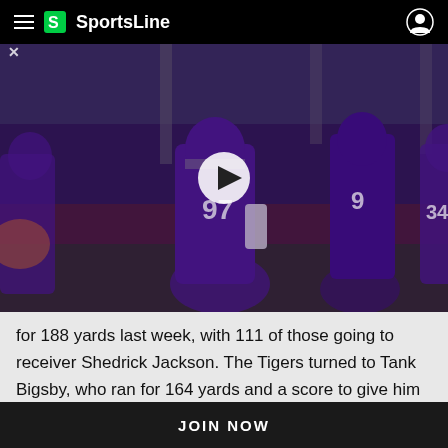SportsLine
[Figure (photo): Northwestern Wildcats football players in purple jerseys on the field, including #97 and others, with a video play button overlay]
for 188 yards last week, with 111 of those going to receiver Shedrick Jackson. The Tigers turned to Tank Bigsby, who ran for 164 yards and a score to give him 940 yards rushing and 10 TDs this season. The Auburn defense, which
JOIN NOW